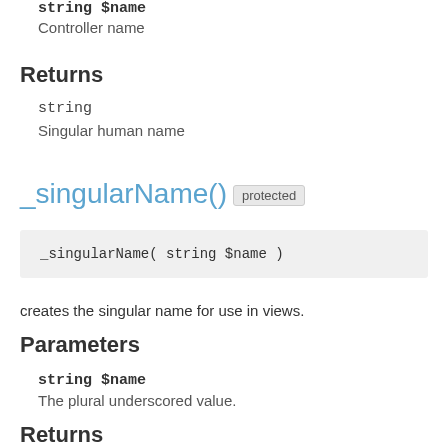string $name
Controller name
Returns
string
Singular human name
_singularName()  protected
_singularName( string $name )
creates the singular name for use in views.
Parameters
string $name
The plural underscored value.
Returns